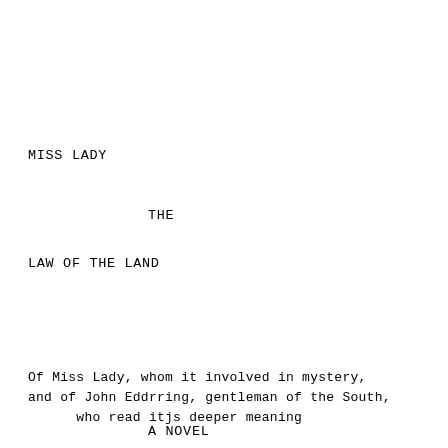MISS LADY
THE
LAW OF THE LAND
Of Miss Lady, whom it involved in mystery,
and of John Eddrring, gentleman of the South,
      who read itjs deeper meaning
A NOVEL